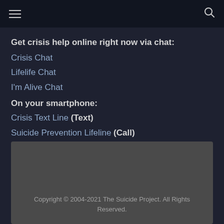≡  🔍
Get crisis help online right now via chat:
Crisis Chat
Lifelife Chat
I'm Alive Chat
On your smartphone:
Crisis Text Line (Text)
Suicide Prevention Lifeline (Call)
Copyright © 2004-2021 The Suicide Project. All Rights Reserved.